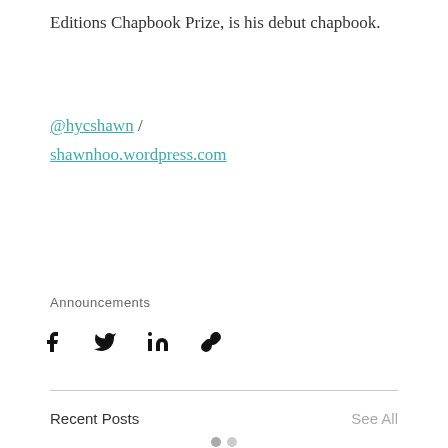Editions Chapbook Prize, is his debut chapbook.
@hycshawn / shawnhoo.wordpress.com
Announcements
[Figure (infographic): Social sharing icons: Facebook, Twitter, LinkedIn, and a link/chain icon]
Recent Posts
See All
[Figure (infographic): Carousel navigation dots (two circles), and a partial preview of an OHIOana logo post card below]